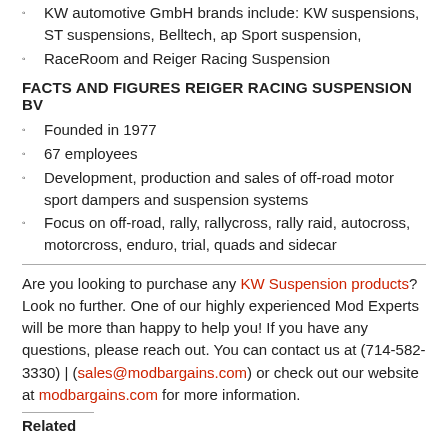KW automotive GmbH brands include: KW suspensions, ST suspensions, Belltech, ap Sport suspension,
RaceRoom and Reiger Racing Suspension
FACTS AND FIGURES REIGER RACING SUSPENSION BV
Founded in 1977
67 employees
Development, production and sales of off-road motor sport dampers and suspension systems
Focus on off-road, rally, rallycross, rally raid, autocross, motorcross, enduro, trial, quads and sidecar
Are you looking to purchase any KW Suspension products? Look no further. One of our highly experienced Mod Experts will be more than happy to help you! If you have any questions, please reach out. You can contact us at (714-582-3330) | (sales@modbargains.com) or check out our website at modbargains.com for more information.
Related